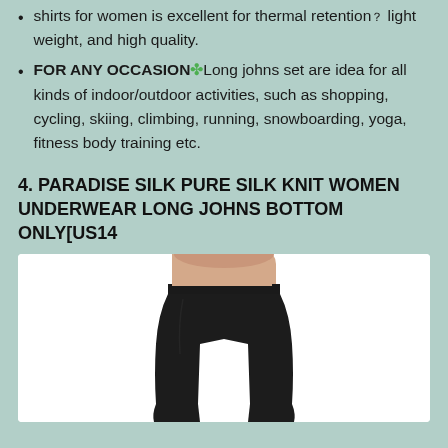shirts for women is excellent for thermal retention, light weight, and high quality.
FOR ANY OCCASION🍀Long johns set are idea for all kinds of indoor/outdoor activities, such as shopping, cycling, skiing, climbing, running, snowboarding, yoga, fitness body training etc.
4. PARADISE SILK PURE SILK KNIT WOMEN UNDERWEAR LONG JOHNS BOTTOM ONLY[US14
[Figure (photo): Woman wearing black silk knit long johns bottom underwear, cropped view showing waist and legs]